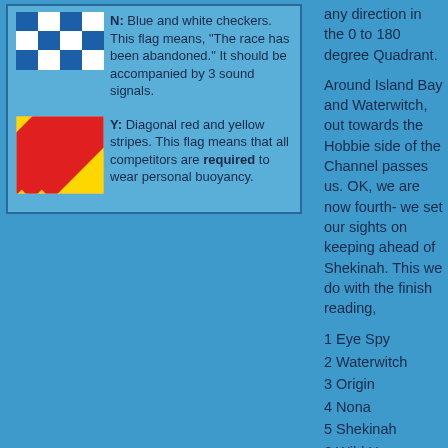[Figure (illustration): Blue and white checker flag (N flag)]
N: Blue and white checkers. This flag means, "The race has been abandoned." It should be accompanied by 3 sound signals.
[Figure (illustration): Diagonal red and yellow stripes flag (Y flag)]
Y: Diagonal red and yellow stripes. This flag means that all competitors are required to wear personal buoyancy.
any direction in the 0 to 180 degree Quadrant.
Around Island Bay and Waterwitch, out towards the Hobbie side of the Channel passes us. OK, we are now fourth- we set our sights on keeping ahead of Shekinah. This we do with the finish reading,
1 Eye Spy
2 Waterwitch
3 Origin
4 Nona
5 Shekinah
6 Wild Horse
At the end of the day water line length does sometimes count